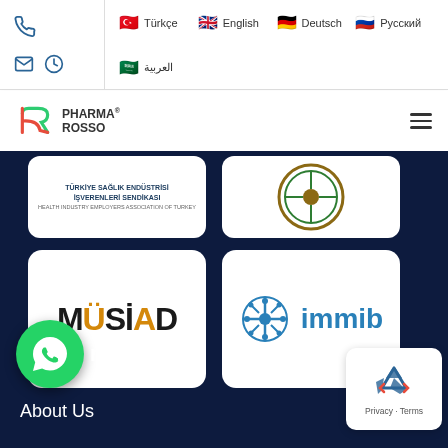Navigation bar with phone, email, clock icons and language options: Türkçe, English, Deutsch, Русский, العربية
[Figure (logo): Pharma Rosso logo with stylized R icon and hamburger menu]
[Figure (logo): Türkiye Sağlık Endüstrisi İşverenleri Sendikası logo card (partially visible)]
[Figure (logo): Circular emblem logo card (partially visible)]
[Figure (logo): MÜSİAD logo card]
[Figure (logo): İMMİB logo card with blue snowflake icon]
rate
About Us